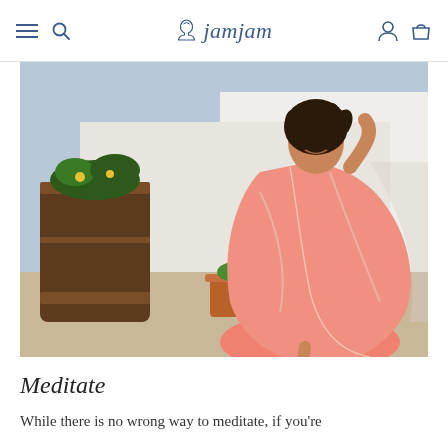jamjam
[Figure (photo): A woman in a flowing pink/coral patterned dress twirling in an outdoor courtyard with white walls, a wooden barrel planter with greenery, and a terracotta pot with a small plant on sandy ground.]
Meditate
While there is no wrong way to meditate, if you're